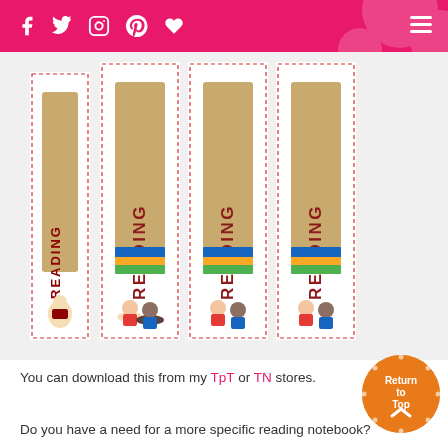Header bar with social icons (Facebook, Twitter, Instagram, Pinterest, heart) and hamburger menu
[Figure (illustration): Reading notebook binder spines showing 'READING' text vertically with children illustrations - shown in 4 different sizes/versions on a white background with red dotted borders]
You can download this from my TpT or TN stores.
[Figure (other): Orange circular 'Return to Top' button with upward chevron icon]
Do you have a need for a more specific reading notebook?